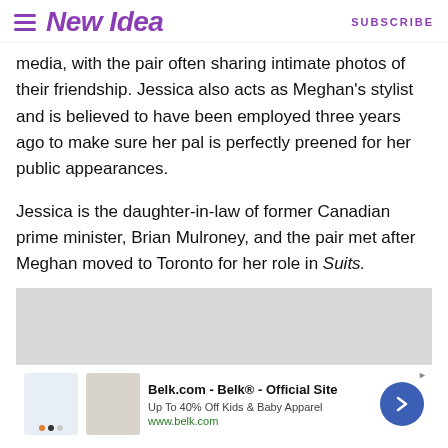New Idea | SUBSCRIBE
media, with the pair often sharing intimate photos of their friendship. Jessica also acts as Meghan's stylist and is believed to have been employed three years ago to make sure her pal is perfectly preened for her public appearances.
Jessica is the daughter-in-law of former Canadian prime minister, Brian Mulroney, and the pair met after Meghan moved to Toronto for her role in Suits.
[Figure (screenshot): Grey advertisement placeholder area with a close button (X) in the bottom right, and an ad bar at the bottom showing Belk.com - Belk Official Site, Up To 40% Off Kids & Baby Apparel, www.belk.com, with product thumbnails and a blue arrow button.]